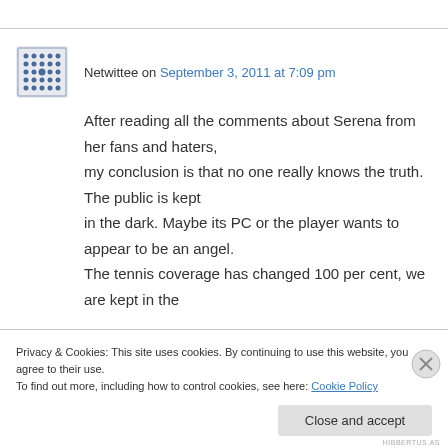Netwittee on September 3, 2011 at 7:09 pm
After reading all the comments about Serena from her fans and haters, my conclusion is that no one really knows the truth. The public is kept in the dark. Maybe its PC or the player wants to appear to be an angel. The tennis coverage has changed 100 per cent, we are kept in the
Privacy & Cookies: This site uses cookies. By continuing to use this website, you agree to their use.
To find out more, including how to control cookies, see here: Cookie Policy
Close and accept